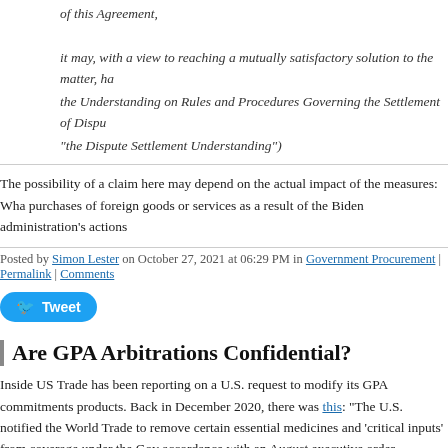of this Agreement,
it may, with a view to reaching a mutually satisfactory solution to the matter, ha the Understanding on Rules and Procedures Governing the Settlement of Dispu "the Dispute Settlement Understanding")
The possibility of a claim here may depend on the actual impact of the measures: Wha purchases of foreign goods or services as a result of the Biden administration's actions
Posted by Simon Lester on October 27, 2021 at 06:29 PM in Government Procurement | Permalink | Comments
[Figure (other): Twitter Tweet button]
Are GPA Arbitrations Confidential?
Inside US Trade has been reporting on a U.S. request to modify its GPA commitments products. Back in December 2020, there was this: "The U.S. notified the World Trade to remove certain essential medicines and 'critical inputs' from coverage under the Gov accordance with an August executive order mandating that such products be made in t
Then in January of this year, IUST reported on objections from other Members: "The M formally objected to the United States' proposed modification of its government pro